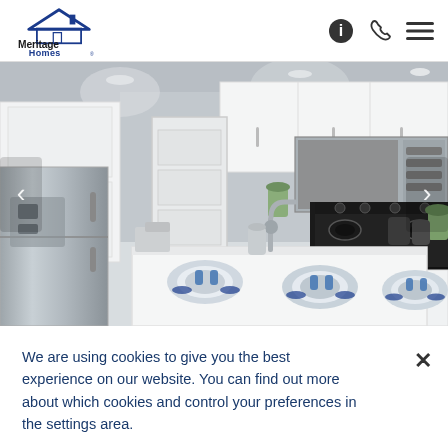[Figure (logo): Meritage Homes logo with blue house roof icon above stylized text 'Meritage Homes' in black and blue]
[Figure (photo): Interior photo of a modern kitchen with white cabinets, stainless steel appliances including refrigerator, microwave, and stove, white quartz island with place settings, recessed lighting]
We are using cookies to give you the best experience on our website. You can find out more about which cookies and control your preferences in the settings area.
Read More